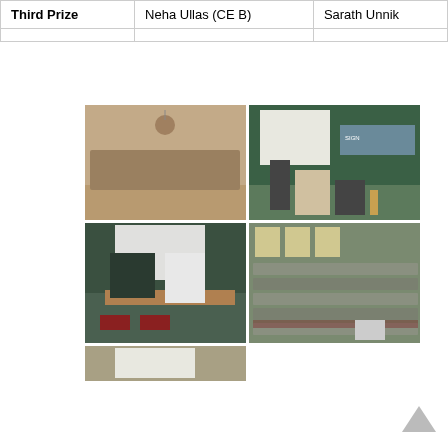| Third Prize | Neha Ullas (CE B) | Sarath Unnik... |
| --- | --- | --- |
| Third Prize | Neha Ullas (CE B) | Sarath Unnik |
[Figure (photo): Grid of four event photos: top-left shows a group of students standing in a row for a prize ceremony; top-right shows a speaker at a podium with a projector screen; bottom-left shows two men standing near a table; bottom-right shows an audience of students seated in rows. A partial fifth photo is visible at the bottom.]